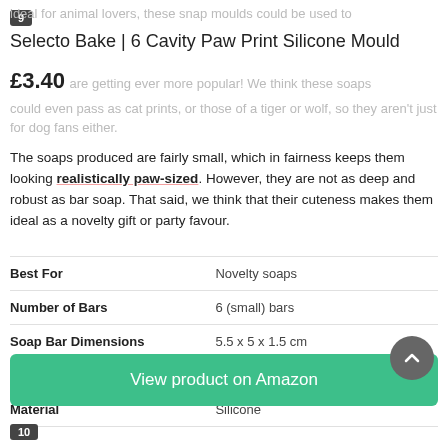9
ideal for animal lovers, these snap moulds could be used to
Selecto Bake | 6 Cavity Paw Print Silicone Mould
£3.40
are getting ever more popular! We think these soaps could even pass as cat prints, or those of a tiger or wolf, so they aren't just for dog fans either.
The soaps produced are fairly small, which in fairness keeps them looking realistically paw-sized. However, they are not as deep and robust as bar soap. That said, we think that their cuteness makes them ideal as a novelty gift or party favour.
|  |  |
| --- | --- |
| Best For | Novelty soaps |
| Number of Bars | 6 (small) bars |
| Soap Bar Dimensions | 5.5 x 5 x 1.5 cm |
| Mould Dimensions | 18.5 x 14 x 1.5 cm |
| Material | Silicone |
View product on Amazon
10